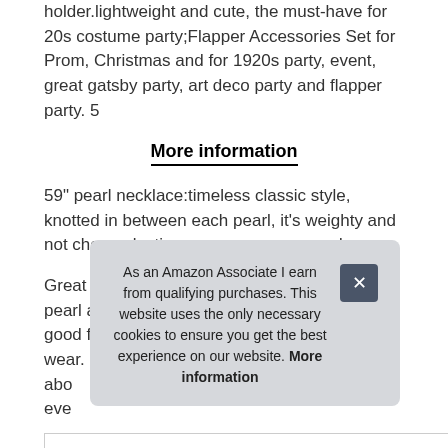holder.lightweight and cute, the must-have for 20s costume party;Flapper Accessories Set for Prom, Christmas and for 1920s party, event, great gatsby party, art deco party and flapper party. 5
More information
59" pearl necklace:timeless classic style, knotted in between each pearl, it's weighty and not cheap plastic, you can wear every day.
Great gatsby headpiece: high quality imitation pearl and Austrian crystal with elastic ribbon, good for theme party, wedding and also daily wear. 21" lightweight satin gloves: unic abo eve
As an Amazon Associate I earn from qualifying purchases. This website uses the only necessary cookies to ensure you get the best experience on our website. More information